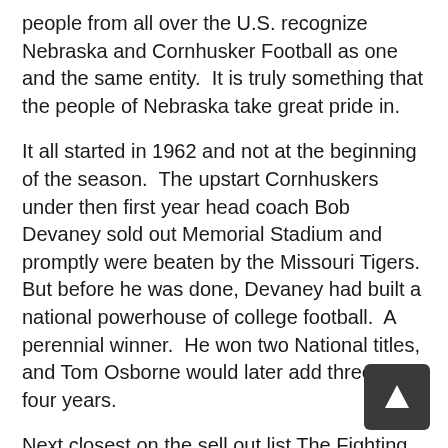people from all over the U.S. recognize Nebraska and Cornhusker Football as one and the same entity.  It is truly something that the people of Nebraska take great pride in.
It all started in 1962 and not at the beginning of the season.  The upstart Cornhuskers under then first year head coach Bob Devaney sold out Memorial Stadium and promptly were beaten by the Missouri Tigers.  But before he was done, Devaney had built a national powerhouse of college football.  A perennial winner.  He won two National titles, and Tom Osborne would later add three in four years.
Next closest on the sell out list The Fighting Irish of Notre Dame, but they are about 15 sold out years behind as their current streak stands at 207 ... that helps to put it into context.
The Cornhusker faithful endured some harsh times of late in what the locals call The Bill Callahan Era.